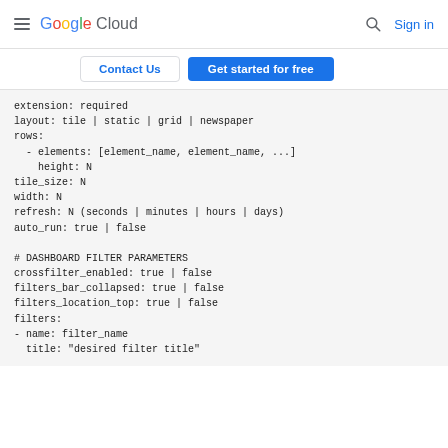Google Cloud  Sign in
Contact Us  Get started for free
extension: required
layout: tile | static | grid | newspaper
rows:
  - elements: [element_name, element_name, ...]
    height: N
tile_size: N
width: N
refresh: N (seconds | minutes | hours | days)
auto_run: true | false

# DASHBOARD FILTER PARAMETERS
crossfilter_enabled: true | false
filters_bar_collapsed: true | false
filters_location_top: true | false
filters:
- name: filter_name
  title: "desired filter title"